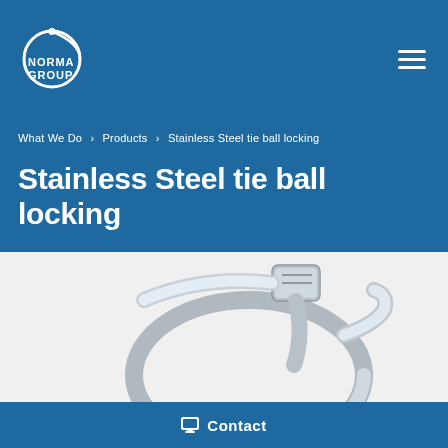[Figure (logo): NORMA GROUP logo — white circle with dot and arc, text NORMA GROUP in white on blue background]
What We Do › Products › Stainless Steel tie ball locking
Stainless Steel tie ball locking
[Figure (photo): Photo of a stainless steel cable tie with ball locking mechanism, showing metallic silver strap looped into a circle with a rectangular locking head at top, on a white background]
Contact